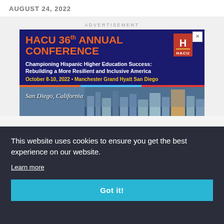AUGUST 24, 2022
ADVERTISEMENT
[Figure (other): HACU 36th Annual Conference advertisement banner. Dark blue background with orange bold text 'HACU 36th ANNUAL CONFERENCE'. Subtitle: 'Championing Hispanic Higher Education Success: Rebuilding a More Resilient and Inclusive America'. Date and venue: 'October 8-10, 2022 • Manchester Grand Hyatt San Diego'. Bottom area shows San Diego, California city skyline photo with italic text 'San Diego, California'. HACU logo in top right corner.]
This website uses cookies to ensure you get the best experience on our website.
Learn more
Got it!